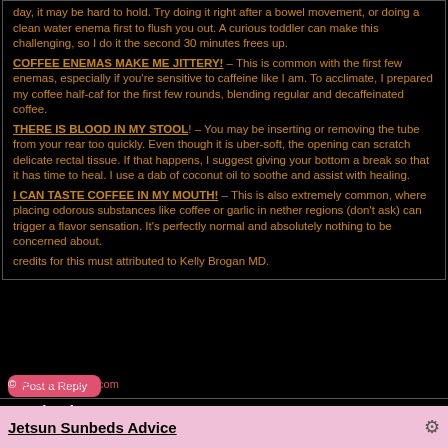day, it may be hard to hold. Try doing it right after a bowel movement, or doing a clean water enema first to flush you out. A curious toddler can make this challenging, so I do it the second 30 minutes frees up.
COFFEE ENEMAS MAKE ME JITTERY! – This is common with the first few enemas, especially if you're sensitive to caffeine like I am. To acclimate, I prepared my coffee half-caf for the first few rounds, blending regular and decaffeinated coffee.
THERE IS BLOOD IN MY STOOL! – You may be inserting or removing the tube from your rear too quickly. Even though it is uber-soft, the opening can scratch delicate rectal tissue. If that happens, I suggest giving your bottom a break so that it has time to heal. I use a dab of coconut oil to soothe and assist with healing.
I CAN TASTE COFFEE IN MY MOUTH! – This is also extremely common, where placing odorous substances like coffee or garlic in nether regions (don't ask) can trigger a flavor sensation. It's perfectly normal and absolutely nothing to be concerned about.
credits for this must attributed to Kelly Brogan MD.
Post a Reply
Facebook Comment
Switch to full style
© JetsunSunbeds.com
Jetsun Sunbeds Advice